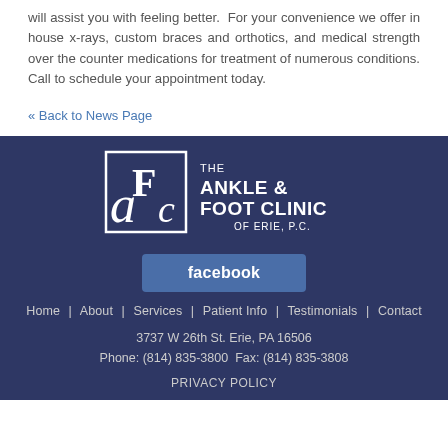will assist you with feeling better.  For your convenience we offer in house x-rays, custom braces and orthotics, and medical strength over the counter medications for treatment of numerous conditions. Call to schedule your appointment today.
« Back to News Page
[Figure (logo): The Ankle & Foot Clinic of Erie, P.C. logo with stylized aFc lettering]
[Figure (logo): Facebook button/logo]
Home  |  About  |  Services  |  Patient Info  |  Testimonials  |  Contact
3737 W 26th St. Erie, PA 16506
Phone: (814) 835-3800  Fax: (814) 835-3808
PRIVACY POLICY